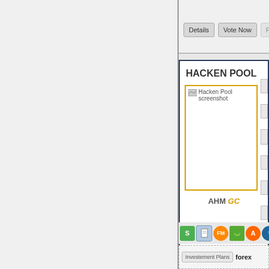[Figure (screenshot): Partial view of a website showing buttons 'Details', 'Vote Now', and a partially visible third button, followed by a panel titled 'HACKEN POOL' with a screenshot placeholder image labeled 'Hacken Pool screenshot', AHM GC text, side truncated labels, icon row with logos, and tags row with 'Investement Plans' button and 'forex' text.]
Details
Vote Now
HACKEN POOL
Hacken Pool screenshot
AHM GC
Investement Plans
forex